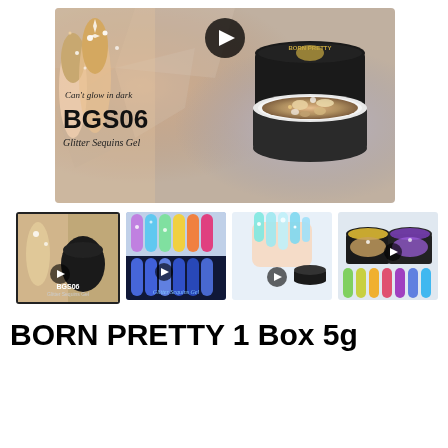[Figure (photo): Main product image showing BGS06 Glitter Sequins Gel by BORN PRETTY. Left side shows nail art with rose gold glitter sequins. Right side shows an open black jar of glitter sequins gel. Text overlay reads 'Can't glow in dark', 'BGS06', 'Glitter Sequins Gel'. A video play button is visible at the top center.]
[Figure (photo): Thumbnail 1 (selected/highlighted with border): Close-up of BGS06 glitter sequins gel product with rose gold sequins on nails]
[Figure (photo): Thumbnail 2: Multiple nail tips showing colorful glitter sequins gel in blue/purple/green shades, with 'Glitter Sequins Gel' text at bottom]
[Figure (photo): Thumbnail 3: Hand with long nails showing teal/pink glitter gel nail art with Born Pretty product jar]
[Figure (photo): Thumbnail 4: Multiple products and nail tips showing various glitter gel colors in greens, golds, purples]
BORN PRETTY 1 Box 5g